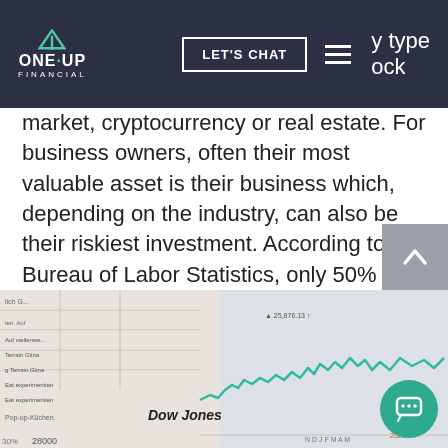ONE·UP FINANCIAL | LET'S CHAT
…y type …ock market, cryptocurrency or real estate. For business owners, often their most valuable asset is their business which, depending on the industry, can also be their riskiest investment. According to the Bureau of Labor Statistics, only 50% of business survive after five years with a mere 30% making it past ten.
[Figure (photo): Close-up photo of a financial newspaper showing a Dow Jones stock chart with a teal/green line chart trending, with annotations showing 25,876.13 and other figures. The word 'Dow Jones' is visible along with the number 28000.]